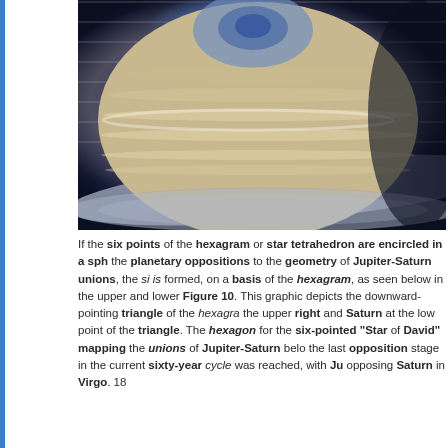[Figure (photo): Close-up photograph of Saturn's north pole showing the hexagonal storm pattern and polar vortex, with visible atmospheric band rings and Saturn's rings visible at the bottom of the image. Colors range from blue-purple at the pole to tan and cream bands.]
If the six points of the hexagram or star tetrahedron are encircled in a sphere, the planetary oppositions to the geometry of Jupiter-Saturn unions, the six is formed, on a basis of the hexagram, as seen below in the upper and lower Figure 10. This graphic depicts the downward-pointing triangle of the hexagram, the upper right and Saturn at the low point of the triangle. The hexagon form the six-pointed "Star of David" mapping the unions of Jupiter-Saturn below the last opposition stage in the current sixty-year cycle was reached, with Jupiter opposing Saturn in Virgo. 18